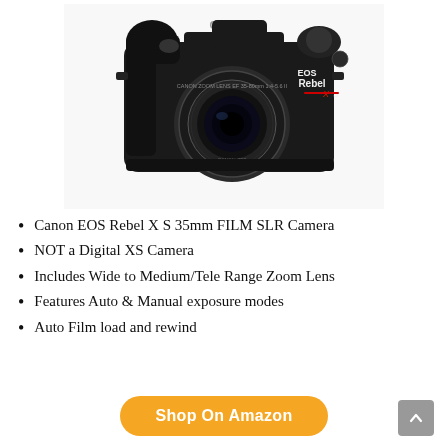[Figure (photo): Canon EOS Rebel X S 35mm film SLR camera with zoom lens, black body, on white background]
Canon EOS Rebel X S 35mm FILM SLR Camera
NOT a Digital XS Camera
Includes Wide to Medium/Tele Range Zoom Lens
Features Auto & Manual exposure modes
Auto Film load and rewind
Shop On Amazon